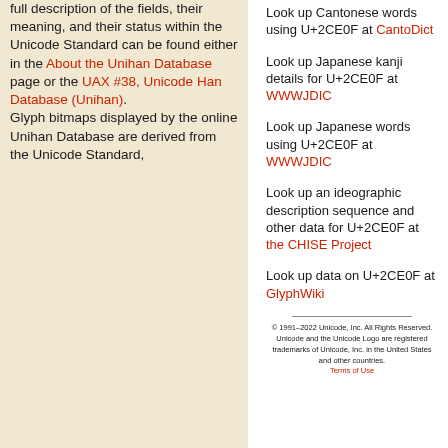full description of the fields, their meaning, and their status within the Unicode Standard can be found either in the About the Unihan Database page or the UAX #38, Unicode Han Database (Unihan).
Glyph bitmaps displayed by the online Unihan Database are derived from the Unicode Standard,
Look up Cantonese words using U+2CE0F at CantoDict
Look up Japanese kanji details for U+2CE0F at WWWJDIC
Look up Japanese words using U+2CE0F at WWWJDIC
Look up an ideographic description sequence and other data for U+2CE0F at the CHISE Project
Look up data on U+2CE0F at GlyphWiki
© 1991–2022 Unicode, Inc. All Rights Reserved. Unicode and the Unicode Logo are registered trademarks of Unicode, Inc. in the United States and other countries. Terms of Use